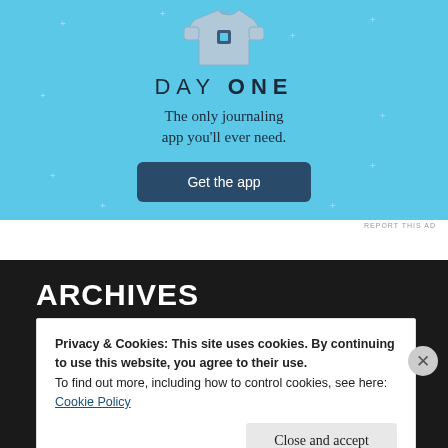[Figure (illustration): Day One journaling app advertisement on light blue background with sparkle decorations, showing a t-shirt/person illustration, the text 'DAY ONE', subtitle 'The only journaling app you'll ever need.', and a dark blue 'Get the app' button.]
REPORT THIS AD
ARCHIVES
Privacy & Cookies: This site uses cookies. By continuing to use this website, you agree to their use.
To find out more, including how to control cookies, see here:
Cookie Policy
Close and accept